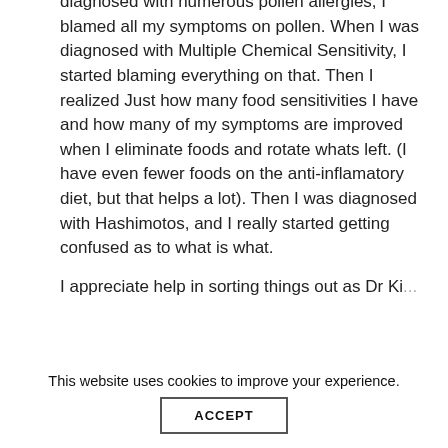diagnosed with numerous pollen allergies, I blamed all my symptoms on pollen. When I was diagnosed with Multiple Chemical Sensitivity, I started blaming everything on that. Then I realized Just how many food sensitivities I have and how many of my symptoms are improved when I eliminate foods and rotate whats left. (I have even fewer foods on the anti-inflamatory diet, but that helps a lot). Then I was diagnosed with Hashimotos, and I really started getting confused as to what is what.

I appreciate help in sorting things out as Dr Ki...
This website uses cookies to improve your experience.
ACCEPT